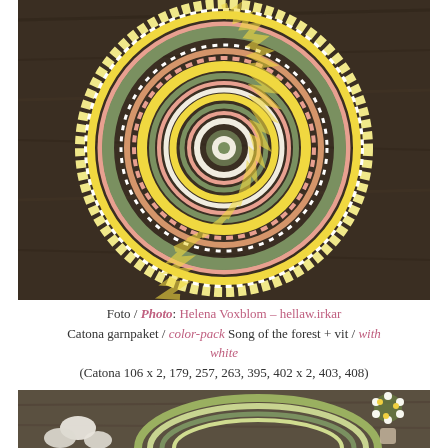[Figure (photo): Circular crochet mandala rug in yellow, pink, green, and white colors, photographed from above on dark wooden floor. The mandala has concentric rings with intricate lace patterns.]
Foto / Photo: Helena Voxblom – hellaw.irkar
Catona garnpaket / color-pack Song of the forest + vit / with white
(Catona 106 x 2, 179, 257, 263, 395, 402 x 2, 403, 408)
[Figure (photo): Partial view of a crochet mandala in green and white tones, placed on wooden surface with white stones and a small vase of daisy flowers.]